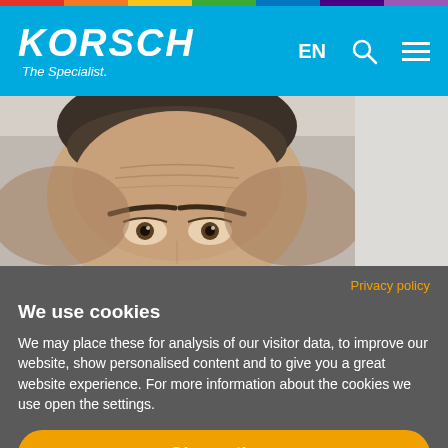KORSCH The Specialist. EN
[Figure (photo): Close-up photo of a man's face from forehead to eyebrows, showing intense eyes, against a light background. Right portion shows a light grey/white area.]
Privacy policy
We use cookies
We may place these for analysis of our visitor data, to improve our website, show personalised content and to give you a great website experience. For more information about the cookies we use open the settings.
Ok, continue
Deny
No, adjust